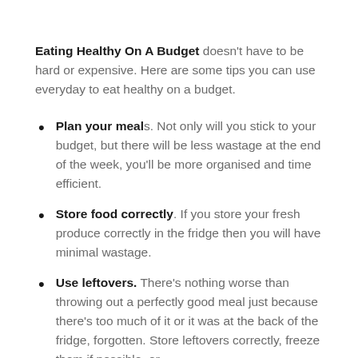Eating Healthy On A Budget doesn't have to be hard or expensive. Here are some tips you can use everyday to eat healthy on a budget.
Plan your meals. Not only will you stick to your budget, but there will be less wastage at the end of the week, you'll be more organised and time efficient.
Store food correctly. If you store your fresh produce correctly in the fridge then you will have minimal wastage.
Use leftovers. There's nothing worse than throwing out a perfectly good meal just because there's too much of it or it was at the back of the fridge, forgotten. Store leftovers correctly, freeze them if possible, or